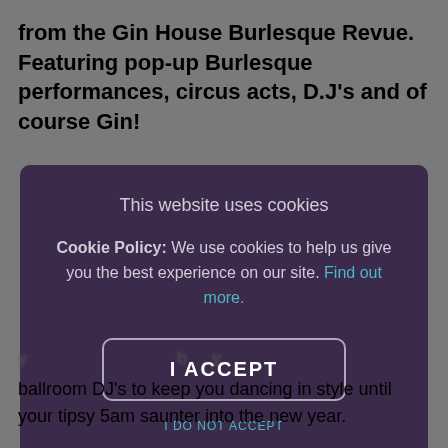from the Gin House Burlesque Revue. Featuring pop-up Burlesque performances, circus acts, D.J's and of course Gin!
[Figure (screenshot): Cookie consent modal overlay with dark purple background. Title: 'This website uses cookies'. Body text: 'Cookie Policy: We use cookies to help us give you the best experience on our site. Find out more.' Button: 'I ACCEPT'. Link: 'I DO NOT ACCEPT'.]
ballroom DJ's to keep you dancing in style until your tipsy 5am saunter into the new year.